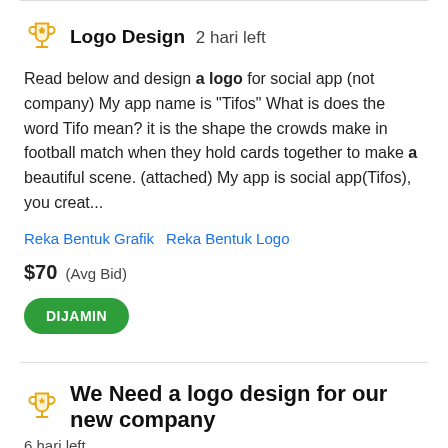Logo Design  2 hari left
Read below and design a logo for social app (not company) My app name is "Tifos" What is does the word Tifo mean? it is the shape the crowds make in football match when they hold cards together to make a beautiful scene. (attached) My app is social app(Tifos), you creat...
Reka Bentuk Grafik   Reka Bentuk Logo
$70  (Avg Bid)
DIJAMIN
We Need a logo design for our new company
6 hari left
We are a company based in Turkey, our brand name is ENPOVA we work in the field of CONSTRUCTION, REAL ESTATE and AUTOMOTIVE industry. Preferred Colors: